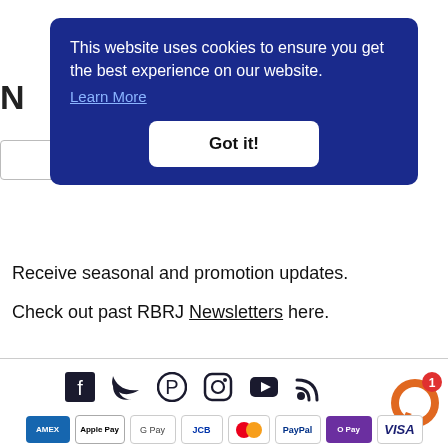This website uses cookies to ensure you get the best experience on our website. Learn More
Got it!
Receive seasonal and promotion updates.
Check out past RBRJ Newsletters here.
[Figure (infographic): Row of social media icons: Facebook, Twitter, Pinterest, Instagram, YouTube, RSS feed, and an orange chat bubble with notification badge showing 1]
[Figure (infographic): Row of payment method icons: Amex, Apple Pay, Google Pay, JCB, Mastercard, PayPal, O Pay, Visa]